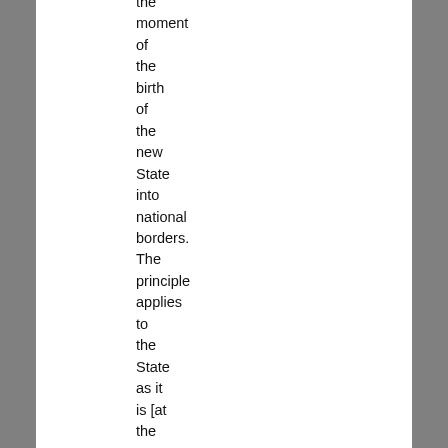the moment of the birth of the new State into national borders. The principle applies to the State as it is [at the moment of independence], i.e. to the 'photograph' of the territorial situation